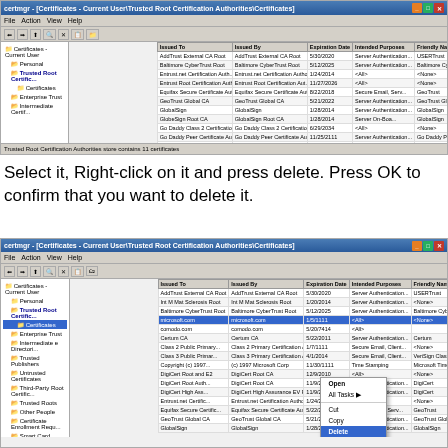[Figure (screenshot): Windows certificate manager MMC snap-in showing Trusted Root Certification Authorities store with a list of certificates. Status bar at bottom reads: Trusted Root Certification Authorities store contains 11 certificates. Windows XP taskbar at bottom.]
Select it, Right-click on it and press delete. Press OK to confirm that you want to delete it.
[Figure (screenshot): Windows certificate manager MMC snap-in showing Trusted Root Certification Authorities - Certificates folder. A certificate entry (microsoft.com) is selected (highlighted in blue) and a right-click context menu is visible showing options: Open, All Tasks (submenu arrow), Cut, Copy, Delete (highlighted), Properties, Help.]